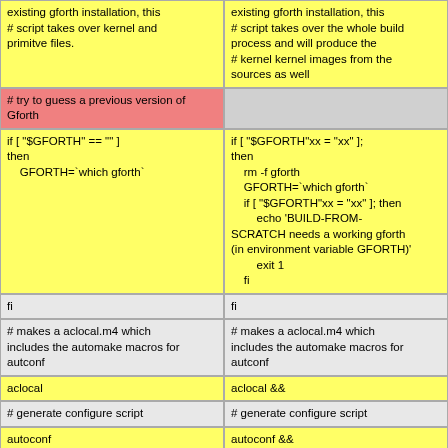existing gforth installation, this # script takes over kernel and primitve files.
existing gforth installation, this # script takes over the whole build process and will produce the # kernel kernel images from the sources as well
# try to guess a previous version of Gforth
if [ "$GFORTH" == "" ]
then
    GFORTH=`which gforth`
if [ "$GFORTH"xx = "xx" ];
then
    rm -f gforth
    GFORTH=`which gforth`
    if [ "$GFORTH"xx = "xx" ]; then
        echo 'BUILD-FROM-SCRATCH needs a working gforth (in environment variable GFORTH)'
        exit 1
    fi
fi
fi
# makes a aclocal.m4 which includes the automake macros for autconf
# makes a aclocal.m4 which includes the automake macros for autconf
aclocal
aclocal &&
# generate configure script
# generate configure script
autoconf
autoconf &&